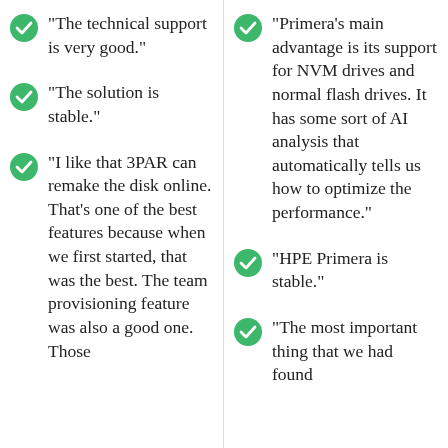"The technical support is very good."
"The solution is stable."
"I like that 3PAR can remake the disk online. That's one of the best features because when we first started, that was the best. The team provisioning feature was also a good one. Those
"Primera's main advantage is its support for NVM drives and normal flash drives. It has some sort of AI analysis that automatically tells us how to optimize the performance."
"HPE Primera is stable."
"The most important thing that we had found